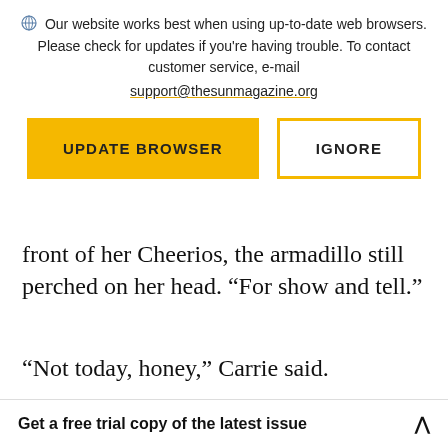Our website works best when using up-to-date web browsers. Please check for updates if you're having trouble. To contact customer service, e-mail support@thesunmagazine.org
[Figure (other): Two buttons: a yellow filled button labeled UPDATE BROWSER and a yellow-outlined button labeled IGNORE]
front of her Cheerios, the armadillo still perched on her head. “For show and tell.”
“Not today, honey,” Carrie said.
“But—”
Get a free trial copy of the latest issue